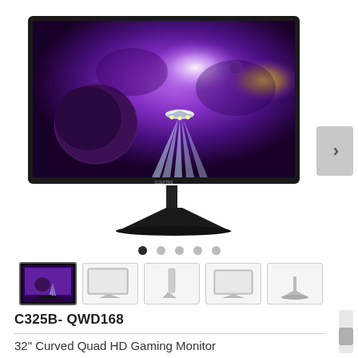[Figure (photo): Sceptre C325B-QWD168 curved gaming monitor displaying a purple space scene with a spaceship and light beams, shown with a black stand on white background]
[Figure (infographic): Row of 5 thumbnail images of the monitor from different angles, with the first thumbnail active/selected]
C325B- QWD168
32" Curved Quad HD Gaming Monitor